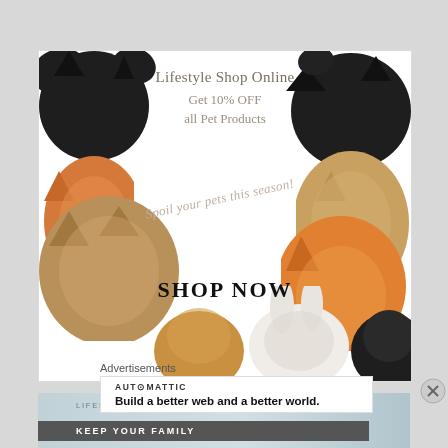[Figure (illustration): Pet shop advertisement banner showing multiple animals (dogs, cats, rabbit, guinea pig) arranged around a white center with text: 'Lifestyle Shop Online', 'Get 10% OFF all Pet Products', 'Spoil your pets this season!', 'SHOP NOW']
[Figure (screenshot): Second advertisement banner for Lifestyle Shop Online with text 'KEEP YOUR FAMILY' partially visible, on a light blue-gray background]
Advertisements
AUT⊙MATTIC
Build a better web and a better world.